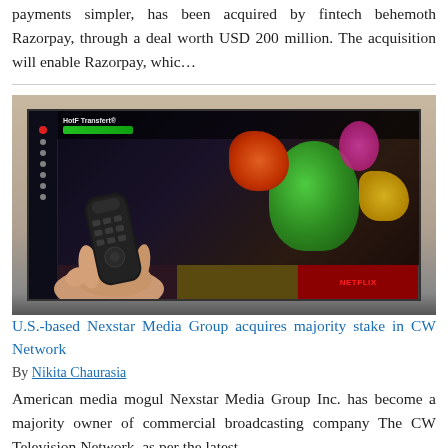payments simpler, has been acquired by fintech behemoth Razorpay, through a deal worth USD 200 million. The acquisition will enable Razorpay, whic...
[Figure (photo): A hand holding a TV remote control pointed at a smart TV screen displaying colorful streaming content including animated characters and a Netflix tile.]
U.S.-based Nexstar Media Group acquires majority stake in CW Network
By Nikita Chaurasia
American media mogul Nexstar Media Group Inc. has become a majority owner of commercial broadcasting company The CW Television Network, as per the latest